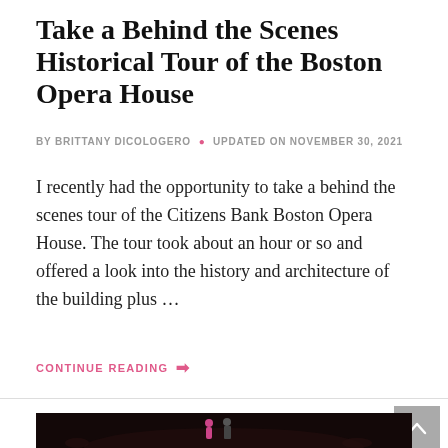Take a Behind the Scenes Historical Tour of the Boston Opera House
BY BRITTANY DICOLOGERO  •  UPDATED ON NOVEMBER 30, 2021
I recently had the opportunity to take a behind the scenes tour of the Citizens Bank Boston Opera House. The tour took about an hour or so and offered a look into the history and architecture of the building plus …
CONTINUE READING →
[Figure (photo): Dark theater stage photo showing two performers (a woman in pink and a man) on stage with a dark background and audience members visible]